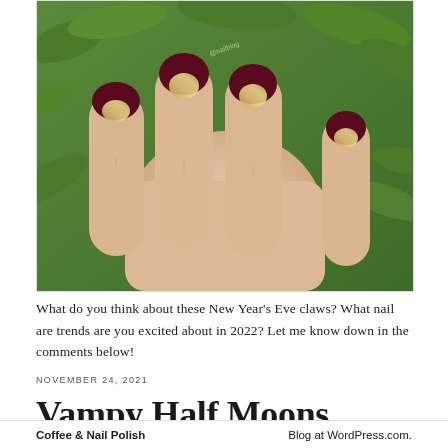[Figure (photo): Close-up photo of a hand with dark burgundy/maroon nail polish featuring gold glitter half-moon nail art design, set against a green leafy background.]
What do you think about these New Year’s Eve claws? What nail are trends are you excited about in 2022? Let me know down in the comments below!
NOVEMBER 24, 2021
Vampy Half Moons
Coffee & Nail Polish   Blog at WordPress.com.